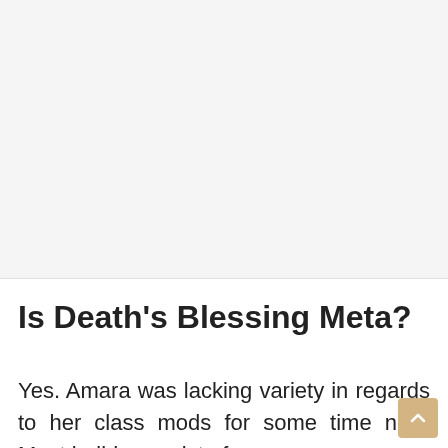[Figure (other): Large image placeholder area with light gray background, occupying the top portion of the page]
Is Death's Blessing Meta?
Yes. Amara was lacking variety in regards to her class mods for some time now. Most builds consist of